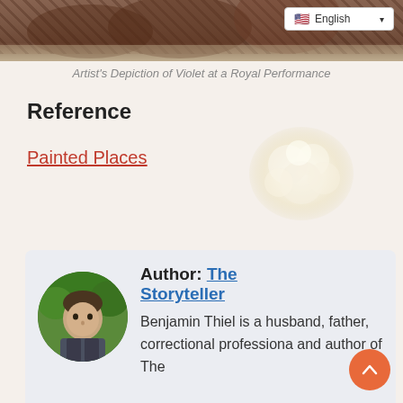[Figure (photo): Top banner image showing a rocky/artistic scene in purple and brown tones with an English language selector button in top right corner]
Artist's Depiction of Violet at a Royal Performance
Reference
Painted Places
[Figure (illustration): A soft white blob/cloud-like shape in the upper right portion of the content area]
Author: The Storyteller
Benjamin Thiel is a husband, father, correctional professiona and author of The